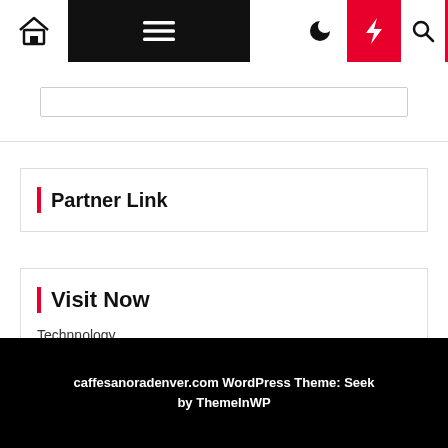[Figure (screenshot): Website navigation bar with home icon, hamburger menu on black background, moon icon, red lightning bolt button, and search icon. Red strip on right edge below navbar.]
Partner Link
Visit Now
Technnology
caffesanoradenver.com WordPress Theme: Seek by ThemeInWP